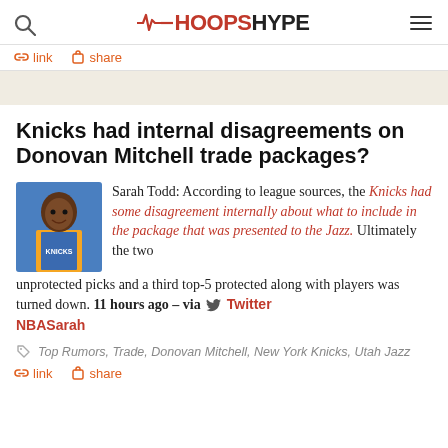HoopsHype
link  share
Knicks had internal disagreements on Donovan Mitchell trade packages?
Sarah Todd: According to league sources, the Knicks had some disagreement internally about what to include in the package that was presented to the Jazz. Ultimately the two unprotected picks and a third top-5 protected along with players was turned down. 11 hours ago – via Twitter NBASarah
Top Rumors, Trade, Donovan Mitchell, New York Knicks, Utah Jazz
link  share